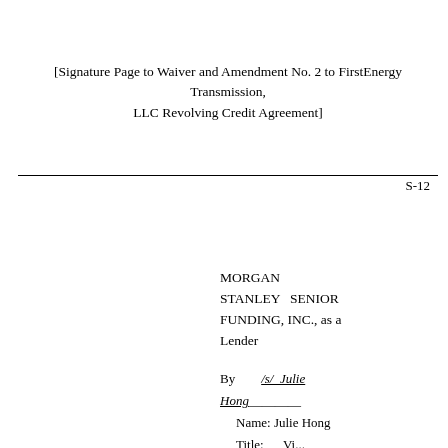[Signature Page to Waiver and Amendment No. 2 to FirstEnergy Transmission, LLC Revolving Credit Agreement]
S-12
MORGAN STANLEY SENIOR FUNDING, INC., as a Lender
By  /s/ Julie Hong
Name: Julie Hong
Title: Vi...